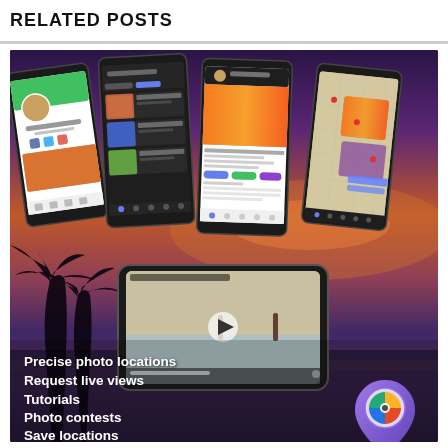RELATED POSTS
[Figure (screenshot): Promotional image for a photo location app showing multiple smartphone screenshots with app UI (profile page, search/locations, posts, map view), a landscape phone showing a video/live view, palm tree silhouettes, a purple-orange sunset sky background, a location pin icon with a camera lens, and overlay text listing app features: Precise photo locations, Request live views, Tutorials, Photo contests, Save locations]